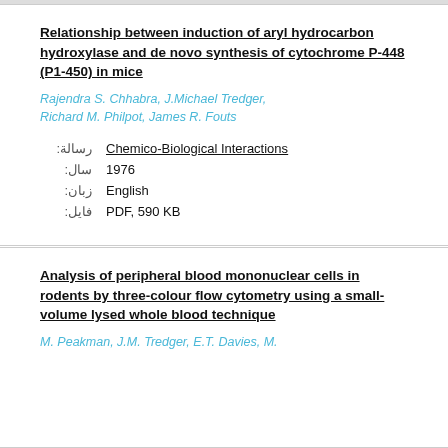Relationship between induction of aryl hydrocarbon hydroxylase and de novo synthesis of cytochrome P-448 (P1-450) in mice
Rajendra S. Chhabra, J.Michael Tredger, Richard M. Philpot, James R. Fouts
رسالة: Chemico-Biological Interactions
سال: 1976
زبان: English
فایل: PDF, 590 KB
Analysis of peripheral blood mononuclear cells in rodents by three-colour flow cytometry using a small-volume lysed whole blood technique
M. Peakman, J.M. Tredger, E.T. Davies, M.